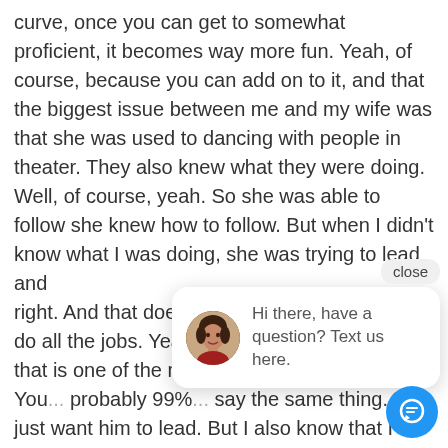curve, once you can get to somewhat proficient, it becomes way more fun. Yeah, of course, because you can add on to it, and that the biggest issue between me and my wife was that she was used to dancing with people in theater. They also knew what they were doing. Well, of course, yeah. So she was able to follow she knew how to follow. But when I didn't know what I was doing, she was trying to lead and
right. And that doesn't work. We try to always do all the jobs. Yeah. And I would say like that, that is one of the m... dynamics, to... for sure. You... probably 99%... say the same thing. I just want him to lead. But I also know that I lead all the time, right? You k... so it's like, yeah, that's kind of funny.
Very cool. So let's go back to that mindset shift
[Figure (other): Chat widget overlay with close button, avatar photo of a woman, and message 'Hi there, have a question? Text us here.' with a blue chat button.]